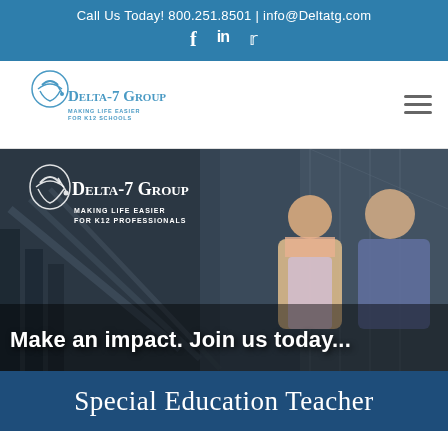Call Us Today! 800.251.8501 | info@Deltatg.com
[Figure (logo): Delta-7 Group logo with graduation cap icon and tagline 'Making Life Easier for K12 Schools']
[Figure (photo): Hero banner image showing two professionals (a woman and a man) in a school building with Delta-7 Group logo overlay and text 'Making Life Easier for K12 Professionals']
Make an impact. Join us today...
Special Education Teacher